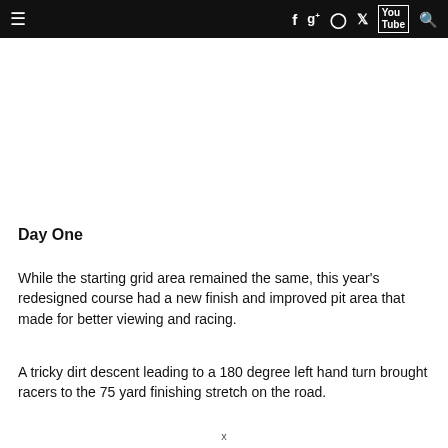≡  f  g+  ⊙  🐦  YouTube  🔍
Day One
While the starting grid area remained the same, this year's redesigned course had a new finish and improved pit area that made for better viewing and racing.
A tricky dirt descent leading to a 180 degree left hand turn brought racers to the 75 yard finishing stretch on the road.